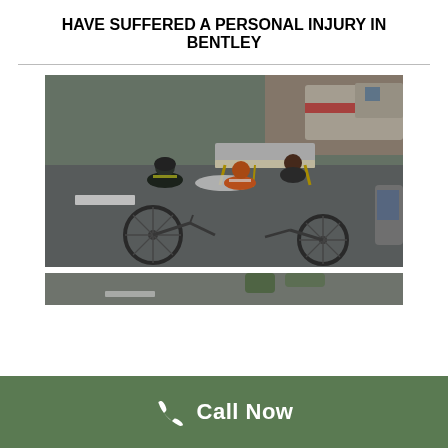HAVE SUFFERED A PERSONAL INJURY IN BENTLEY
[Figure (photo): Emergency responders and paramedics kneeling on road next to a fallen bicycle, with a stretcher and ambulance visible in the background.]
[Figure (photo): Partial view of a second photo at the bottom of the page, appears to show another accident scene.]
Call Now